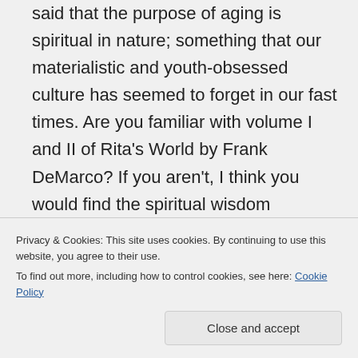said that the purpose of aging is spiritual in nature; something that our materialistic and youth-obsessed culture has seemed to forget in our fast times. Are you familiar with volume I and II of Rita's World by Frank DeMarco? If you aren't, I think you would find the spiritual wisdom fascinating. DeMarco's books are technical and sophisticated. You are obviously extremely knowledgeable about spiritual literature and like me, are probably bored with most of
Privacy & Cookies: This site uses cookies. By continuing to use this website, you agree to their use. To find out more, including how to control cookies, see here: Cookie Policy